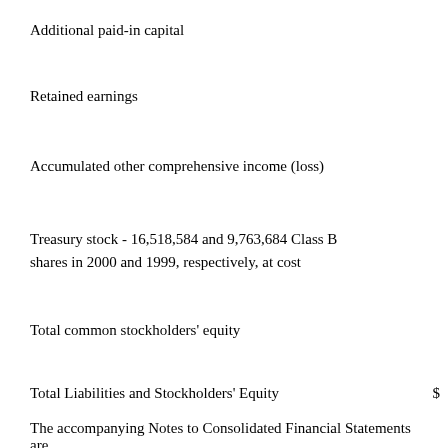Additional paid-in capital
Retained earnings
Accumulated other comprehensive income (loss)
Treasury stock - 16,518,584 and 9,763,684 Class B shares in 2000 and 1999, respectively, at cost
Total common stockholders' equity
Total Liabilities and Stockholders' Equity   $
The accompanying Notes to Consolidated Financial Statements are